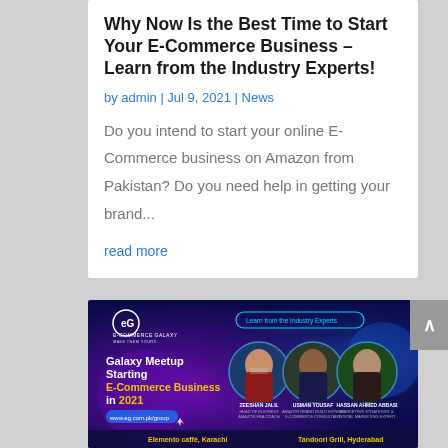Why Now Is the Best Time to Start Your E-Commerce Business – Learn from the Industry Experts!
by admin | Jul 9, 2021 | News
Do you intend to start your online E-Commerce business on Amazon from Pakistan? Do you need help in getting your brand...
read more
[Figure (illustration): Dark blue/purple promotional banner for E-Commerce Galaxy Galaxy Meetup showing three speaker headshots (Zeeshan Jalil - Head of Business Amazon FBA Coach, Usman Yousaf - Amazon Brand Build Expert E-Commerce Consultant, Hassan Ahmed Abbasi - Marketing Strategist Digital Marketing Expert), text 'Galaxy Meetup Starting E-Commerce Business in 2021', logos, venue details 'Elemento caffè, Karachi' and 'Tandoori Grill, Hyderabad', and website www.eg.com.pk/group]